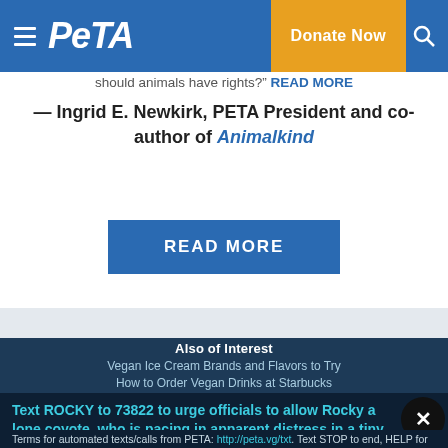PETA — Donate Now
should animals have rights? READ MORE
— Ingrid E. Newkirk, PETA President and co-author of Animalkind
READ MORE
Also of Interest
Vegan Ice Cream Brands and Flavors to Try
How to Order Vegan Drinks at Starbucks
Text ROCKY to 73822 to urge officials to allow Rocky a lone coyote, who is pacing in apparent distress in a tiny cage, to move to an accredited sanctuary.
Terms for automated texts/calls from PETA: http://peta.vg/txt. Text STOP to end, HELP for more info. Msg/data rates may apply. U.S. only.